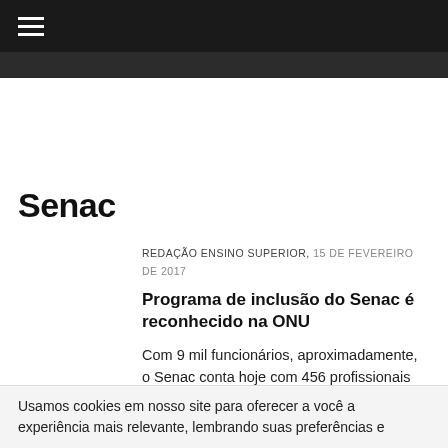☰ (navigation bar)
Senac
REDAÇÃO ENSINO SUPERIOR, 15 DE FEVEREIRO DE 2017
Programa de inclusão do Senac é reconhecido na ONU
Com 9 mil funcionários, aproximadamente, o Senac conta hoje com 456 profissionais
Usamos cookies em nosso site para oferecer a você a experiência mais relevante, lembrando suas preferências e